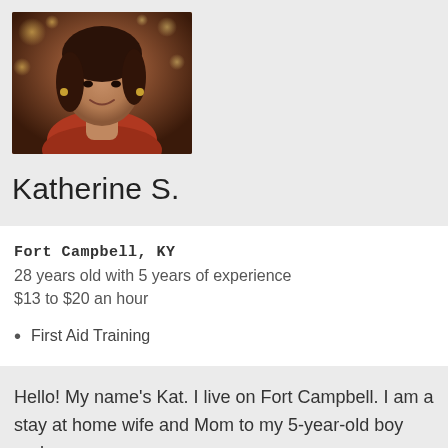[Figure (photo): Profile photo of Katherine S., a young woman with dark hair, wearing a red/rust scarf, smiling, with bokeh lights in background]
Katherine S.
Fort Campbell, KY
28 years old with 5 years of experience
$13 to $20 an hour
First Aid Training
Hello! My name's Kat. I live on Fort Campbell. I am a stay at home wife and Mom to my 5-year-old boy and my